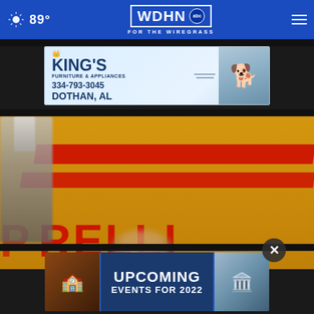89° WDHN ABC FOR THE WIREGRASS
[Figure (photo): King's Furniture & Appliances advertisement banner: 334-793-3045, Dothan, AL, with dog image]
[Figure (photo): Blurred photo of a trophy with Pirelli branding on yellow court background, person partially visible at bottom]
[Figure (photo): Upcoming Events for 2022 advertisement banner with building images on both sides]